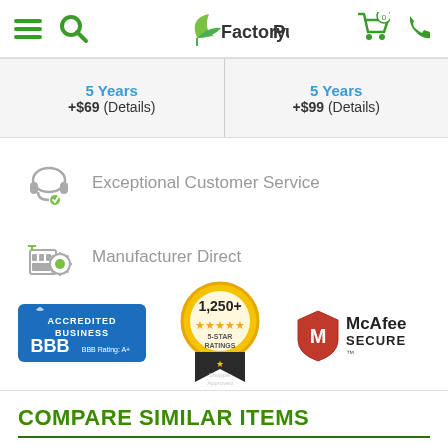FactoryPure
| 5 Years +$69 (Details) | 5 Years +$99 (Details) |
Exceptional Customer Service
Manufacturer Direct
[Figure (logo): BBB Accredited Business, BBB Rating: A+ badge]
[Figure (logo): 1,250+ 5-Star Ratings, Shopper Approved badge]
[Figure (logo): McAfee Secure badge]
COMPARE SIMILAR ITEMS